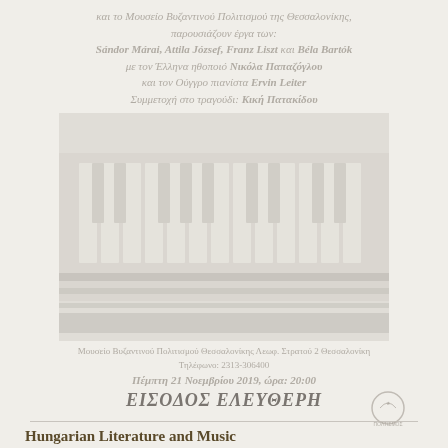και το Μουσείο Βυζαντινού Πολιτισμού της Θεσσαλονίκης, παρουσιάζουν έργα των: Sándor Márai, Attila József, Franz Liszt και Béla Bartók με τον Έλληνα ηθοποιό Νικόλα Παπαζόγλου και τον Ούγγρο πιανίστα Ervin Leiter Συμμετοχή στο τραγούδι: Κική Πατακίδου
[Figure (photo): Close-up photograph of piano keys, black and white keys visible, faded/washed out appearance]
Μουσείο Βυζαντινού Πολιτισμού Θεσσαλονίκης Λεωφ. Στρατού 2 Θεσσαλονίκη Τηλέφωνο: 2313-306400
Πέμπτη 21 Νοεμβρίου 2019, ώρα: 20:00
ΕΙΣΟΔΟΣ ΕΛΕΥΘΕΡΗ
Hungarian Literature and Music
An evening with...